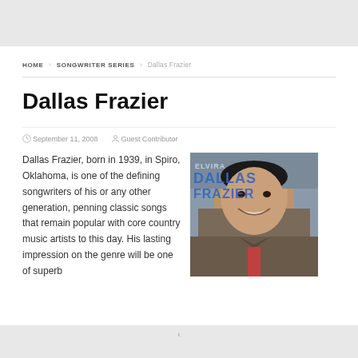HOME › SONGWRITER SERIES › Dallas Frazier
Dallas Frazier
September 11, 2008   Guest Contributor
Dallas Frazier, born in 1939, in Spiro, Oklahoma, is one of the defining songwriters of his or any other generation, penning classic songs that remain popular with core country music artists to this day. His lasting impression on the genre will be one of superb
[Figure (photo): Album cover photo of Dallas Frazier showing a man smiling, with text 'DALLAS FRAZIER' overlaid on the image in blue letters]